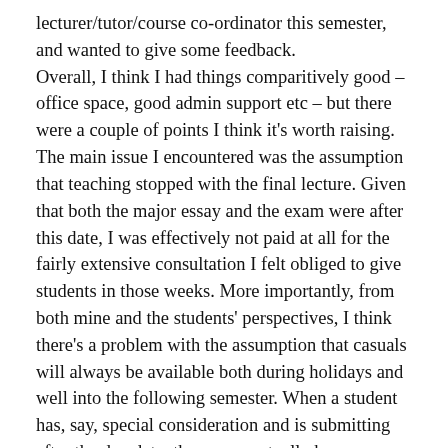lecturer/tutor/course co-ordinator this semester, and wanted to give some feedback. Overall, I think I had things comparitively good – office space, good admin support etc – but there were a couple of points I think it's worth raising. The main issue I encountered was the assumption that teaching stopped with the final lecture. Given that both the major essay and the exam were after this date, I was effectively not paid at all for the fairly extensive consultation I felt obliged to give students in those weeks. More importantly, from both mine and the students' perspectives, I think there's a problem with the assumption that casuals will always be available both during holidays and well into the following semester. When a student has, say, special consideration and is submitting after the due date, there may actually be no one connected with the course around to mark it. Hope this of some help!